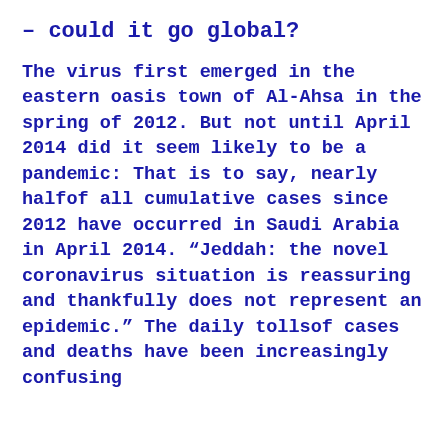– could it go global?
The virus first emerged in the eastern oasis town of Al-Ahsa in the spring of 2012. But not until April 2014 did it seem likely to be a pandemic: That is to say, nearly halfof all cumulative cases since 2012 have occurred in Saudi Arabia in April 2014. “Jeddah: the novel coronavirus situation is reassuring and thankfully does not represent an epidemic.” The daily tollsof cases and deaths have been increasingly confusing